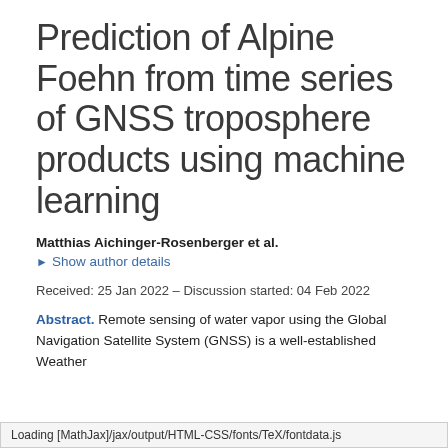Prediction of Alpine Foehn from time series of GNSS troposphere products using machine learning
Matthias Aichinger-Rosenberger et al.
Show author details
Received: 25 Jan 2022 – Discussion started: 04 Feb 2022
Abstract. Remote sensing of water vapor using the Global Navigation Satellite System (GNSS) is a well-established Weather
Loading [MathJax]/jax/output/HTML-CSS/fonts/TeX/fontdata.js